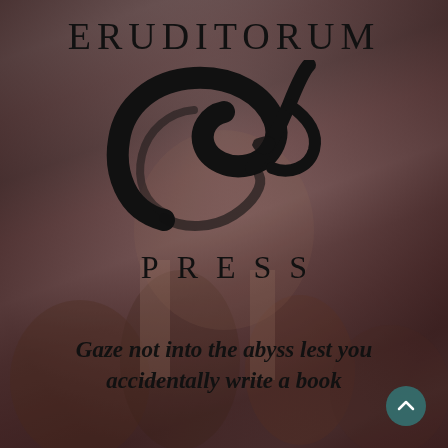ERUDITORUM
[Figure (logo): Eruditorum Press logo: stylized cursive EP monogram in black]
PRESS
Gaze not into the abyss lest you accidentally write a book